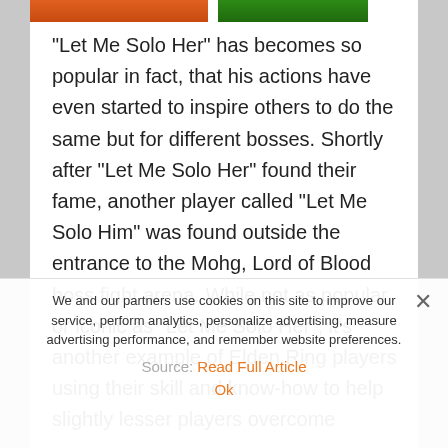[Figure (screenshot): Top strip showing partial game screenshot with orange and green colored segments]
"Let Me Solo Her" has becomes so popular in fact, that his actions have even started to inspire others to do the same but for different bosses. Shortly after "Let Me Solo Her" found their fame, another player called "Let Me Solo Him" was found outside the entrance to the Mohg, Lord of Blood boss fight arena. While not as popular or iconic as "Let Me Solo Her", it's another example of Elden Ring players using their skill and know-how to help slightly lesser players overcome
We and our partners use cookies on this site to improve our service, perform analytics, personalize advertising, measure advertising performance, and remember website preferences.
Source: Read Full Article
Ok